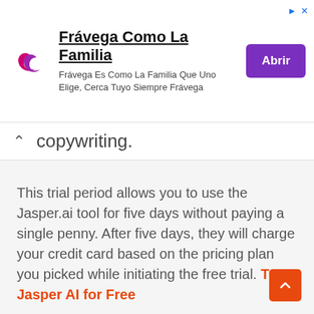[Figure (other): Advertisement banner for Frávega with logo, text 'Frávega Como La Familia', subtitle 'Frávega Es Como La Familia Que Uno Elige, Cerca Tuyo Siempre Frávega', and a purple 'Abrir' button]
copywriting.
This trial period allows you to use the Jasper.ai tool for five days without paying a single penny. After five days, they will charge your credit card based on the pricing plan you picked while initiating the free trial. Try Jasper AI for Free